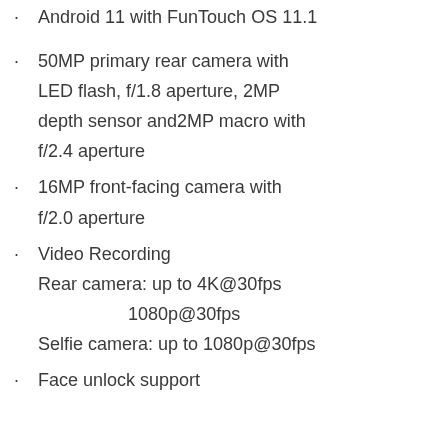Android 11 with FunTouch OS 11.1
50MP primary rear camera with LED flash, f/1.8 aperture, 2MP depth sensor and2MP macro with f/2.4 aperture
16MP front-facing camera with f/2.0 aperture
Video Recording
Rear camera: up to 4K@30fps
1080p@30fps
Selfie camera: up to 1080p@30fps
Face unlock support